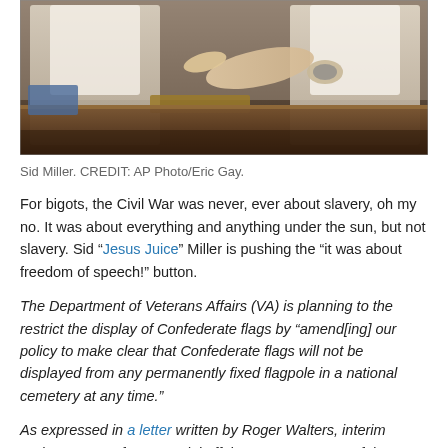[Figure (photo): Photo of Sid Miller at a table, hands visible, one person pointing, desk in foreground]
Sid Miller. CREDIT: AP Photo/Eric Gay.
For bigots, the Civil War was never, ever about slavery, oh my no. It was about everything and anything under the sun, but not slavery. Sid “Jesus Juice” Miller is pushing the “it was about freedom of speech!” button.
The Department of Veterans Affairs (VA) is planning to the restrict the display of Confederate flags by “amend[ing] our policy to make clear that Confederate flags will not be displayed from any permanently fixed flagpole in a national cemetery at any time.”
As expressed in a letter written by Roger Walters, interim undersecretary for memorial affairs, “We are aware of the concerns of those who wish to see Confederate flags removed from public venues because they are perceived by many as a symbol of racial intolerance.”
But a recent vote indicated a majority of House Republicans oppose the VA’s attempt to restrict where and when the Stars and Bars can be